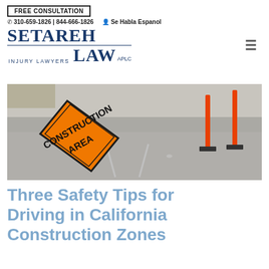FREE CONSULTATION | ☎ 310-659-1826 | 844-666-1826 | Se Habla Espanol | SETAREH INJURY LAWYERS LAW APLC
[Figure (photo): Orange diamond-shaped construction area warning sign on a road with orange traffic delineator posts in the background]
Three Safety Tips for Driving in California Construction Zones